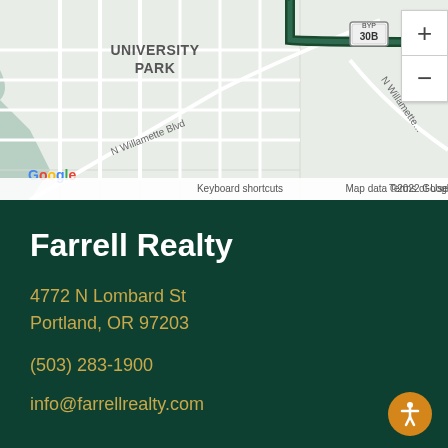[Figure (map): Google Maps screenshot showing University Park neighborhood in Portland, OR. Shows street grid with N Willamette Blvd visible, highway 30B bypass, and a marker pin. Zoom controls visible on right side. Google logo and map attribution at bottom.]
Farrell Realty
4772 N Lombard St
Portland, OR 97203
(503) 283-1900
info@farrellrealty.com